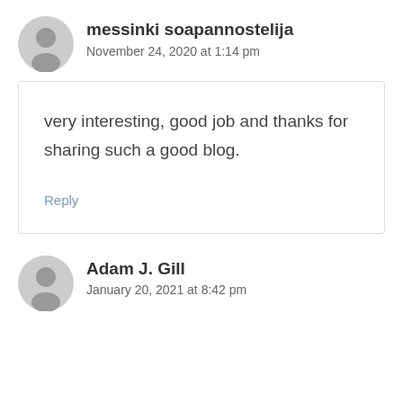messinki soapannostelija
November 24, 2020 at 1:14 pm
very interesting, good job and thanks for sharing such a good blog.
Reply
Adam J. Gill
January 20, 2021 at 8:42 pm